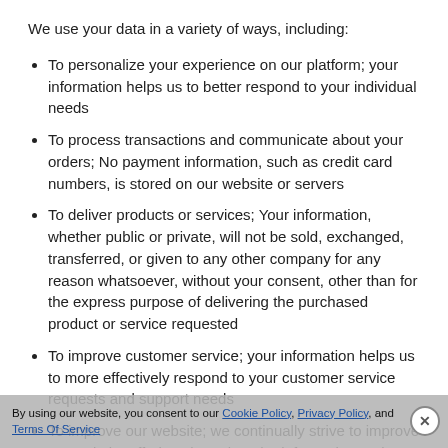We use your data in a variety of ways, including:
To personalize your experience on our platform; your information helps us to better respond to your individual needs
To process transactions and communicate about your orders; No payment information, such as credit card numbers, is stored on our website or servers
To deliver products or services; Your information, whether public or private, will not be sold, exchanged, transferred, or given to any other company for any reason whatsoever, without your consent, other than for the express purpose of delivering the purchased product or service requested
To improve customer service; your information helps us to more effectively respond to your customer service requests and support needs
To improve our website; we continually strive to improve our website offerings based on the information and feedback we receive from you
By using our website, you consent to our Cookie Policy, Privacy Policy, and Terms Of Service